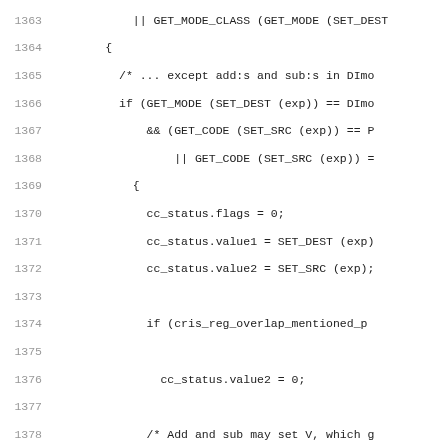Source code listing, lines 1363-1394, C programming language code related to cc_status flags and SET_DEST/SET_SRC operations